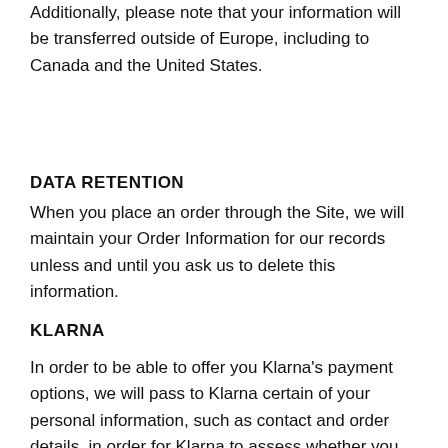Additionally, please note that your information will be transferred outside of Europe, including to Canada and the United States.
DATA RETENTION
When you place an order through the Site, we will maintain your Order Information for our records unless and until you ask us to delete this information.
KLARNA
In order to be able to offer you Klarna's payment options, we will pass to Klarna certain of your personal information, such as contact and order details, in order for Klarna to assess whether you qualify for